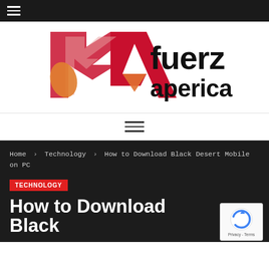≡ (hamburger menu)
[Figure (logo): Fuerzaperica logo with stylized red and orange FA lettermark and bold text 'fuerzaperica']
[Figure (other): Hamburger menu icon (three horizontal lines)]
Home > Technology > How to Download Black Desert Mobile on PC
TECHNOLOGY
How to Download Black